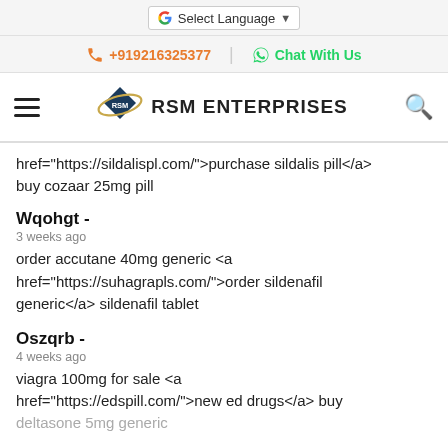Select Language
+919216325377 | Chat With Us
RSM ENTERPRISES
href="https://sildalispl.com/">purchase sildalis pill</a> buy cozaar 25mg pill
Wqohgt -
3 weeks ago
order accutane 40mg generic <a href="https://suhagrapls.com/">order sildenafil generic</a> sildenafil tablet
Oszqrb -
4 weeks ago
viagra 100mg for sale <a href="https://edspill.com/">new ed drugs</a> buy deltasone 5mg generic